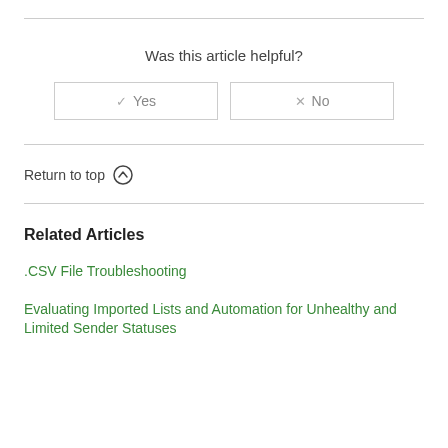Was this article helpful?
[Figure (other): Feedback buttons: checkmark Yes and X No]
Return to top ↑
Related Articles
.CSV File Troubleshooting
Evaluating Imported Lists and Automation for Unhealthy and Limited Sender Statuses